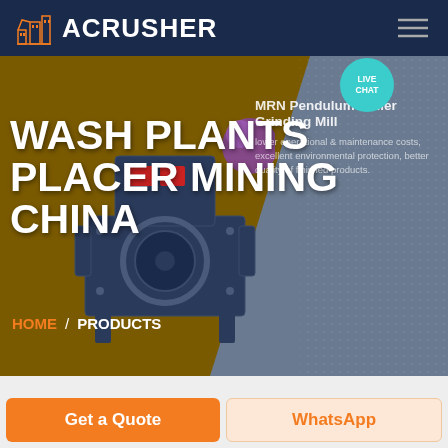ACRUSHER
WASH PLANTS PLACER MINING CHINA
MRN Pendulum Roller Grinding Mill
lower operational & maintenance costs, excellent environmental protection, better quality of finished products.
HOME / PRODUCTS
[Figure (screenshot): ACRUSHER website screenshot showing hero banner with industrial grinding machine, navigation header with logo, live chat bubble, breadcrumb navigation HOME / PRODUCTS, and CTA buttons Get a Quote and WhatsApp]